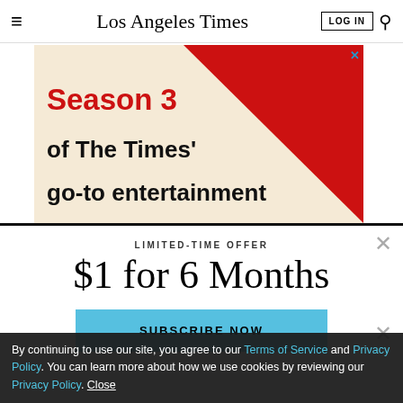Los Angeles Times — LOG IN
[Figure (illustration): Advertisement banner with cream background and red diagonal stripe. Text reads 'Season 3 of The Times' go-to entertainment' in bold black and red.]
LIMITED-TIME OFFER
$1 for 6 Months
SUBSCRIBE NOW
By continuing to use our site, you agree to our Terms of Service and Privacy Policy. You can learn more about how we use cookies by reviewing our Privacy Policy. Close